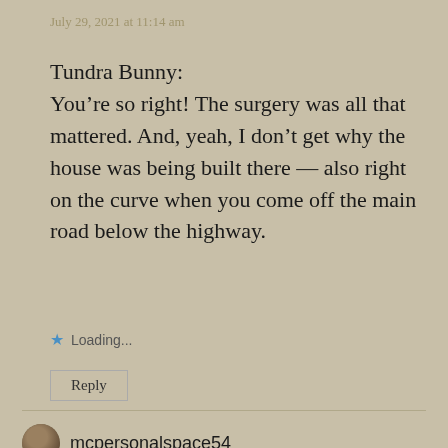July 29, 2021 at 11:14 am
Tundra Bunny:
You’re so right! The surgery was all that mattered. And, yeah, I don’t get why the house was being built there — also right on the curve when you come off the main road below the highway.
Loading...
Reply
mcpersonalspace54
July 28, 2021 at 9:43 pm